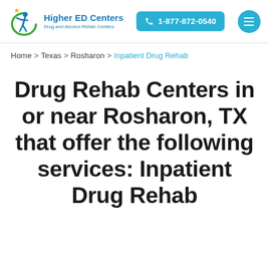[Figure (logo): Higher ED Centers logo with stylized figure and green circle, star icon, and blue text reading 'Higher ED Centers Drug and Alcohol Rehab Centers']
Home > Texas > Rosharon > Inpatient Drug Rehab
Drug Rehab Centers in or near Rosharon, TX that offer the following services: Inpatient Drug Rehab